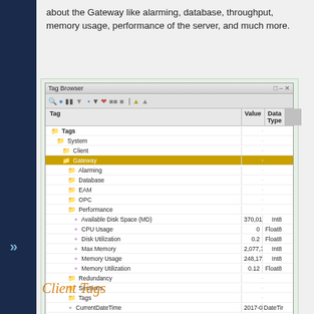about the Gateway like alarming, database, throughput, memory usage, performance of the server, and much more.
[Figure (screenshot): Tag Browser screenshot showing a tree hierarchy: Tags > System > Client > Gateway (selected) > Alarming, Database, EAM, OPC, Performance (with sub-tags: Available Disk Space (MD): 370,010 Int8, CPU Usage: 0 Float8, Disk Utilization: 0.2 Float8, Max Memory: 2,077,763,344 Int8, Memory Usage: 248,173,672 Int8, Memory Utilization: 0.12 Float8), Redundancy, Sessions, Tags, CurrentDateTime: 2017-01-12 10:56:2... DateTime, Timezone: America/Los_Angeles String]
Image Added
Client Tags